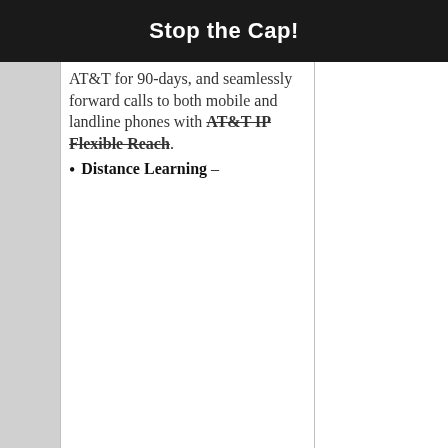Stop the Cap!
AT&T for 90-days, and seamlessly forward calls to both mobile and landline phones with AT&T IP Flexible Reach.
Distance Learning –